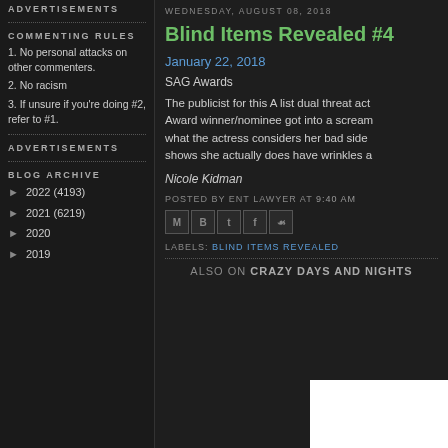ADVERTISEMENTS
COMMENTING RULES
1. No personal attacks on other commenters.
2. No racism
3. If unsure if you're doing #2, refer to #1.
ADVERTISEMENTS
BLOG ARCHIVE
► 2022 (4193)
► 2021 (6219)
► 2020
► 2019
WEDNESDAY, AUGUST 08, 2018
Blind Items Revealed #4
January 22, 2018
SAG Awards
The publicist for this A list dual threat act... Award winner/nominee got into a scream... what the actress considers her bad side... shows she actually does have wrinkles a...
Nicole Kidman
POSTED BY ENT LAWYER AT 9:40 AM
LABELS: BLIND ITEMS REVEALED
ALSO ON CRAZY DAYS AND NIGHTS